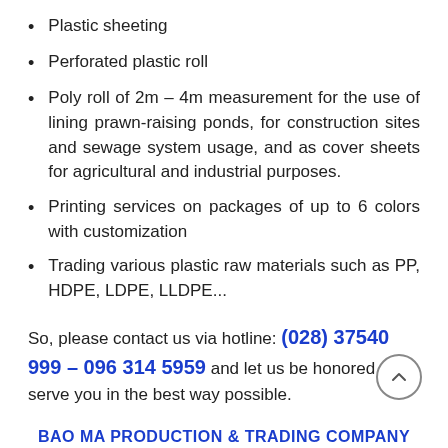Plastic sheeting
Perforated plastic roll
Poly roll of 2m – 4m measurement for the use of lining prawn-raising ponds, for construction sites and sewage system usage, and as cover sheets for agricultural and industrial purposes.
Printing services on packages of up to 6 colors with customization
Trading various plastic raw materials such as PP, HDPE, LDPE, LLDPE...
So, please contact us via hotline: (028) 37540 999 – 096 314 5959 and let us be honored to serve you in the best way possible.
BAO MA PRODUCTION & TRADING COMPANY